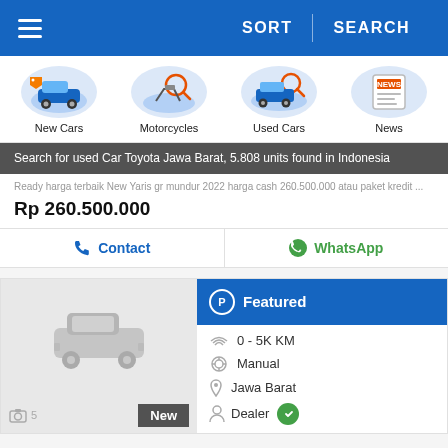≡  SORT | SEARCH
[Figure (screenshot): Category icons row: New Cars, Motorcycles, Used Cars, News]
Search for used Car Toyota Jawa Barat, 5.808 units found in Indonesia
Ready harga terbaik New Yaris gr mundur 2022 harga cash 260.500.000 atau paket kredit ...
Rp 260.500.000
Contact  WhatsApp
[Figure (screenshot): Car listing card with Featured badge, 0-5K KM, Manual, Jawa Barat, Dealer info, New badge]